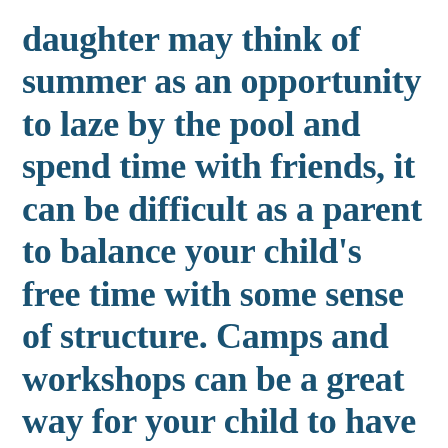daughter may think of summer as an opportunity to laze by the pool and spend time with friends, it can be difficult as a parent to balance your child's free time with some sense of structure. Camps and workshops can be a great way for your child to have fun while sticking to a